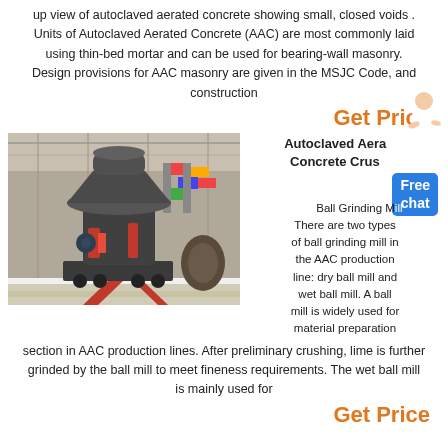up view of autoclaved aerated concrete showing small, closed voids . Units of Autoclaved Aerated Concrete (AAC) are most commonly laid using thin-bed mortar and can be used for bearing-wall masonry. Design provisions for AAC masonry are given in the MSJC Code, and construction
Get Price
[Figure (photo): Industrial ball grinding mill machine photographed in a large factory/warehouse setting with flags and industrial equipment visible in the background.]
Autoclaved Aerated Concrete Crusher Ball Grinding M...
Free chat
There are two types of ball grinding mill in the AAC production line: dry ball mill and wet ball mill. A ball mill is widely used for material preparation section in AAC production lines. After preliminary crushing, lime is further grinded by the ball mill to meet fineness requirements. The wet ball mill is mainly used for
Get Price